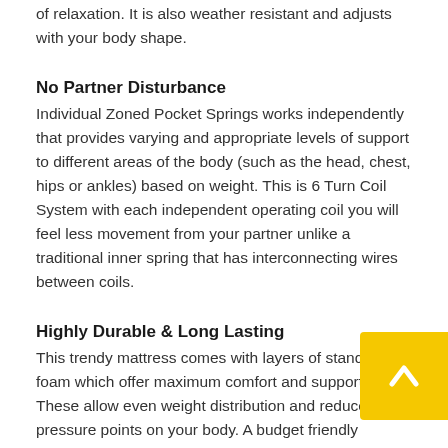of relaxation. It is also weather resistant and adjusts with your body shape.
No Partner Disturbance
Individual Zoned Pocket Springs works independently that provides varying and appropriate levels of support to different areas of the body (such as the head, chest, hips or ankles) based on weight. This is 6 Turn Coil System with each independent operating coil you will feel less movement from your partner unlike a traditional inner spring that has interconnecting wires between coils.
Highly Durable & Long Lasting
This trendy mattress comes with layers of standard foam which offer maximum comfort and support. These allow even weight distribution and reduce pressure points on your body. A budget friendly product but is packed with elements to provide you with a better sleeping surface and pure comfort throughout the night